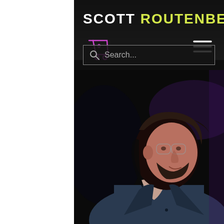SCOTT ROUTENBERG
[Figure (screenshot): Website screenshot of Scott Routenberg personal site with dark header, cart icon, hamburger menu, search bar, and hero photo of a man with glasses and beard smiling in profile, wearing a blazer]